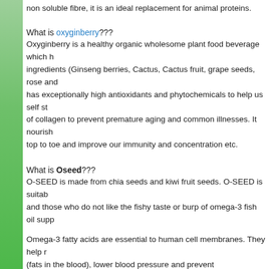non soluble fibre, it is an ideal replacement for animal proteins.
What is oxyginberry???
Oxyginberry is a healthy organic wholesome plant food beverage which has ingredients (Ginseng berries, Cactus, Cactus fruit, grape seeds, rose and others). It has exceptionally high antioxidants and phytochemicals to help us self synthesize of collagen to prevent premature aging and common illnesses. It nourishes our body top to toe and improve our immunity and concentration etc.
What is Oseed???
O-SEED is made from chia seeds and kiwi fruit seeds. O-SEED is suitable for vegans and those who do not like the fishy taste or burp of omega-3 fish oil supplements.
Omega-3 fatty acids are essential to human cell membranes. They help reduce triglycerides (fats in the blood), lower blood pressure and prevent atherosclerosis, they promote cardiovascular health and a stronger immune system, which, in turn, helps decrease inflammation and allergic reactions. Research has shown that omega-3 fatty acids support better learning and cognition, playing a key role in early childhood development.
Chia seeds are a good source of omega-3 fatty acids. It is also rich in flavonol, quercetin and chlorogenic acid, which help combat free radical damage and boost the immune system. Kiwi fruit seeds are rich in vitamin C, antioxidants, and contains...